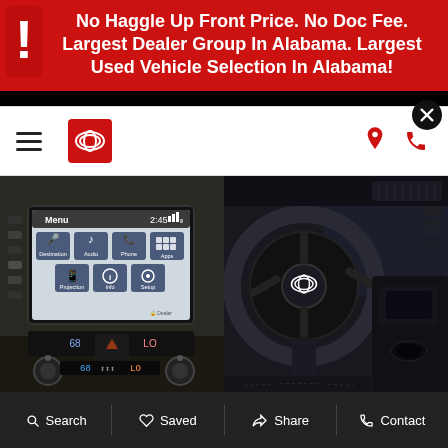No Haggle Up Front Price. No Doc Fee. Largest Dealer Group In Alabama. Largest Used Vehicle Selection In Alabama!
[Figure (screenshot): Toyota dealership website navigation bar with hamburger menu, Toyota logo, location pin and phone icons, and a close (X) button]
[Figure (photo): Left photo: Toyota vehicle infotainment touchscreen showing menu with options for Destination, Audio, Phone, Apps, Projection, Info, Setup at 2:45]
[Figure (photo): Right photo: Toyota vehicle interior showing steering wheel with Toyota logo and center console]
Search  Saved  Share  Contact